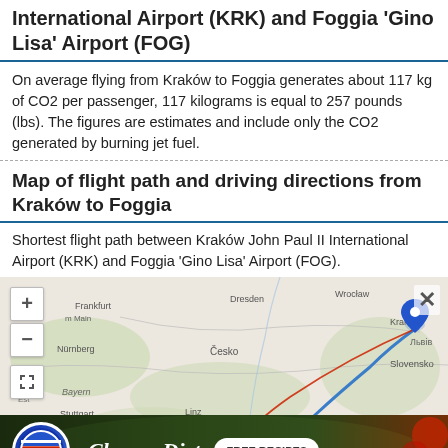International Airport (KRK) and Foggia 'Gino Lisa' Airport (FOG)
On average flying from Kraków to Foggia generates about 117 kg of CO2 per passenger, 117 kilograms is equal to 257 pounds (lbs). The figures are estimates and include only the CO2 generated by burning jet fuel.
Map of flight path and driving directions from Kraków to Foggia
Shortest flight path between Kraków John Paul II International Airport (KRK) and Foggia 'Gino Lisa' Airport (FOG).
[Figure (map): Map showing the flight path (red line) and driving route (blue line) between Kraków, Poland and Foggia, Italy, with city labels including Frankfurt, Dresden, Wrocław, Nürnberg, Česko, Kraków, Bayern, Linz, Wien, Slovensko, Львів, Stuttgart, München, Österreich, and others. Map includes zoom controls (+/-) and fullscreen button.]